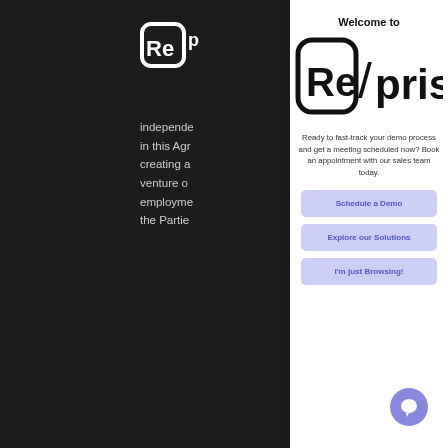[Figure (screenshot): Screenshot of a website with a dark background showing partial legal/privacy text, overlaid by a Reprise promotional modal popup and a cookie consent bar at the bottom.]
Welcome to
[Figure (logo): Reprise logo — stylized Re inside rounded square bracket shape followed by 'prise' text in bold]
Ready to fast-track your demo process and get a meeting scheduled now? Book an appointment with our sales team today.
Schedule a Demo
Explore our Solutions
I'm just Browsing!
We collect information using cookies, pixel tags, or similar technologies. Review our full cookies policy here and click
If you dec… you visit t… your bro… tracked.
[Figure (other): Accept and Decline cookie consent buttons plus a purple chat bubble icon in the bottom right]